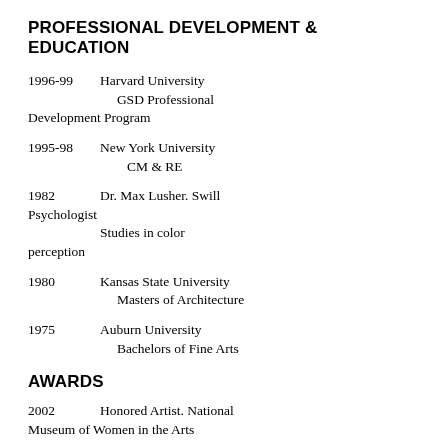PROFESSIONAL DEVELOPMENT & EDUCATION
1996-99   Harvard University GSD Professional Development Program
1995-98   New York University CM & RE
1982   Dr. Max Lusher. Swill Psychologist   Studies in color perception
1980   Kansas State University Masters of Architecture
1975   Auburn University Bachelors of Fine Arts
AWARDS
2002   Honored Artist. National Museum of Women in the Arts